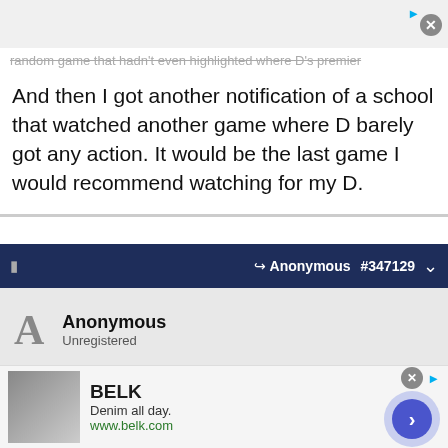[Figure (screenshot): Top advertisement area with close button]
random game that hadn't even highlighted where D's premier
And then I got another notification of a school that watched another game where D barely got any action. It would be the last game I would recommend watching for my D.
Anonymous #347129
Anonymous
Unregistered
Originally Posted by Anonymous
SportsRecruits question-
What makes a coach watch a certain game?
[Figure (screenshot): Bottom advertisement: BELK brand - Denim all day. www.belk.com]